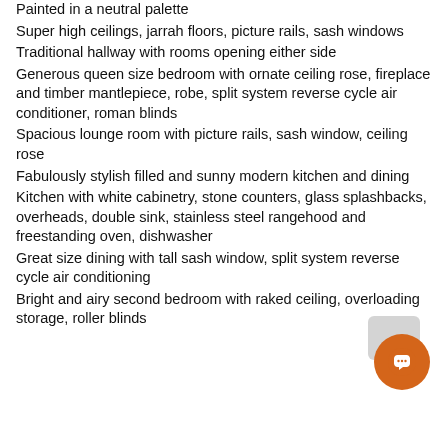Painted in a neutral palette
Super high ceilings, jarrah floors, picture rails, sash windows
Traditional hallway with rooms opening either side
Generous queen size bedroom with ornate ceiling rose, fireplace and timber mantlepiece, robe, split system reverse cycle air conditioner, roman blinds
Spacious lounge room with picture rails, sash window, ceiling rose
Fabulously stylish filled and sunny modern kitchen and dining
Kitchen with white cabinetry, stone counters, glass splashbacks, overheads, double sink, stainless steel rangehood and freestanding oven, dishwasher
Great size dining with tall sash window, split system reverse cycle air conditioning
Bright and airy second bedroom with raked ceiling, overloading storage, roller blinds